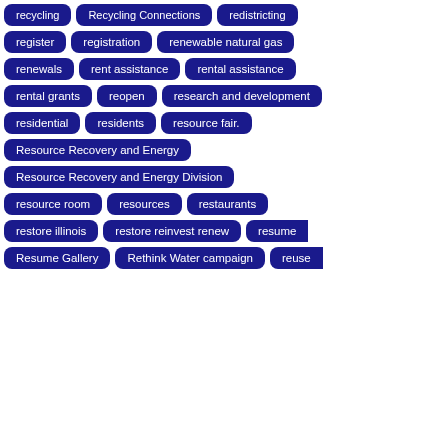recycling
Recycling Connections
redistricting
register
registration
renewable natural gas
renewals
rent assistance
rental assistance
rental grants
reopen
research and development
residential
residents
resource fair.
Resource Recovery and Energy
Resource Recovery and Energy Division
resource room
resources
restaurants
restore illinois
restore reinvest renew
resume
Resume Gallery
Rethink Water campaign
reuse